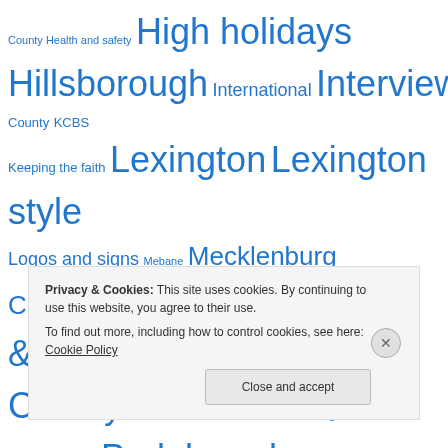County Health and safety High holidays Hillsborough International Interview Johnston County KCBS Keeping the faith Lexington Lexington style Logos and signs Mebane Mecklenburg County Music Odds & ends Orange County Outside NC Pig pickin' Pitt County Pork barrel politics Raleigh Recipes Religion Rowan County Salisbury Sex Shameless Signs of aporkalypse Smithfield Swine flu!!! Texas
Privacy & Cookies: This site uses cookies. By continuing to use this website, you agree to their use.
To find out more, including how to control cookies, see here: Cookie Policy
Close and accept